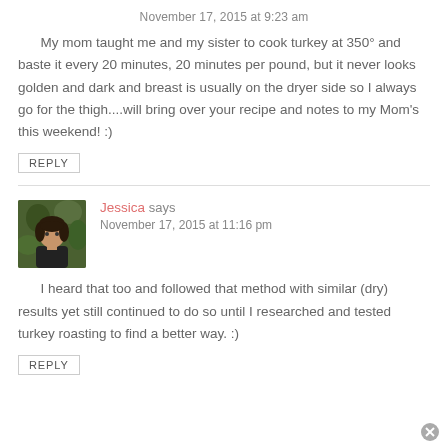November 17, 2015 at 9:23 am
My mom taught me and my sister to cook turkey at 350° and baste it every 20 minutes, 20 minutes per pound, but it never looks golden and dark and breast is usually on the dryer side so I always go for the thigh....will bring over your recipe and notes to my Mom's this weekend! :)
REPLY
Jessica says
November 17, 2015 at 11:16 pm
I heard that too and followed that method with similar (dry) results yet still continued to do so until I researched and tested turkey roasting to find a better way. :)
REPLY